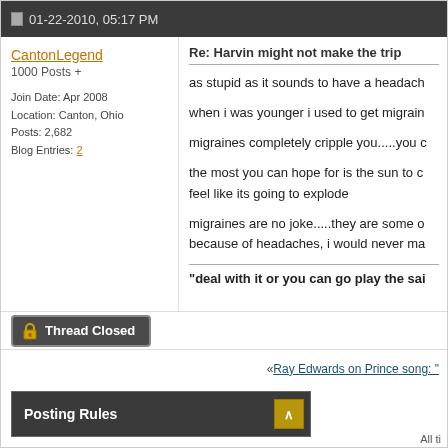01-22-2010, 05:17 PM
CantonLegend
1000 Posts +
Join Date: Apr 2008
Location: Canton, Ohio
Posts: 2,682
Blog Entries: 2
Re: Harvin might not make the trip
as stupid as it sounds to have a headach
when i was younger i used to get migrain
migraines completely cripple you.....you c
the most you can hope for is the sun to c feel like its going to explode
migraines are no joke.....they are some o because of headaches, i would never ma
"deal with it or you can go play the sai
Thread Closed
« Ray Edwards on Prince song: "
Posting Rules
All ti